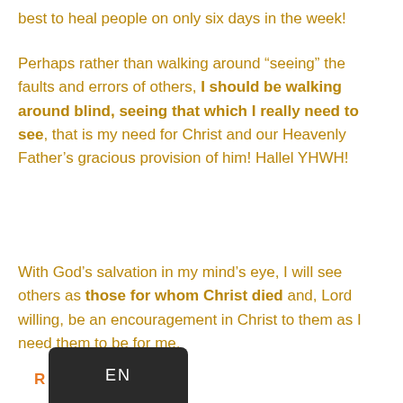best to heal people on only six days in the week!
Perhaps rather than walking around “seeing” the faults and errors of others, I should be walking around blind, seeing that which I really need to see, that is my need for Christ and our Heavenly Father’s gracious provision of him! Hallel YHWH!
With God’s salvation in my mind’s eye, I will see others as those for whom Christ died and, Lord willing, be an encouragement in Christ to them as I need them to be for me.
[Figure (screenshot): Language keyboard selector showing 'EN' label on dark rounded rectangle, with orange 'R' letter visible to the left]